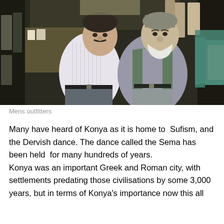[Figure (photo): Two men standing and talking in front of a market stall selling clothes and garments. The man on the left wears a white striped shirt, the man on the right wears a grey shirt and green vest with white beard.]
Mens outfitters
Many have heard of Konya as it is home to  Sufism, and the Dervish dance. The dance called the Sema has been held  for many hundreds of years.
Konya was an important Greek and Roman city, with settlements predating those civilisations by some 3,000 years, but in terms of Konya's importance now this all